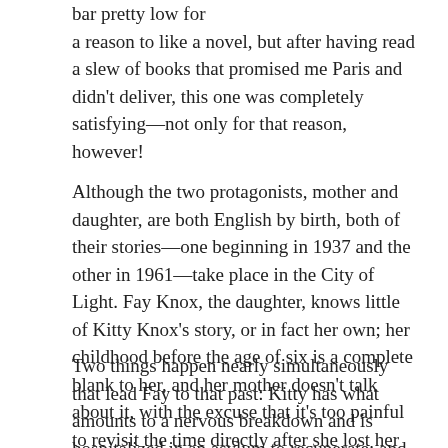bar pretty low for a reason to like a novel, but after having read a slew of books that promised me Paris and didn't deliver, this one was completely satisfying—not only for that reason, however!
Although the two protagonists, mother and daughter, are both English by birth, both of their stories—one beginning in 1937 and the other in 1961—take place in the City of Light. Fay Knox, the daughter, knows little of Kitty Knox's story, or in fact her own; her childhood before the age of six is a complete blank to her, and her mother doesn't talk about it, with the excuse that it's too painful to revisit the time directly after she lost her beloved husband, Eugene.
Two things happen nearly simultaneously that lead Fay to that past: Kitty has what amounts to a nervous breakdown and is hospitalized in an asylum to recuperate; and Fay is hired by an orchestra (she is an